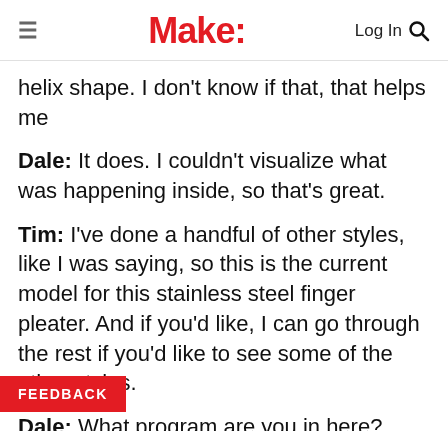Make:
helix shape. I don't know if that, that helps me
Dale: It does. I couldn't visualize what was happening inside, so that's great.
Tim: I've done a handful of other styles, like I was saying, so this is the current model for this stainless steel finger pleater. And if you'd like, I can go through the rest if you'd like to see some of the other styles.
Dale: What program are you in here?
Tim: Fusion 360, which is another thing. This has been a free tool to me as a hobbyist for years. So I've been able to go around and occasionally make [something] at when a crisis like this comes up, I'm actually proficient in the software package and I